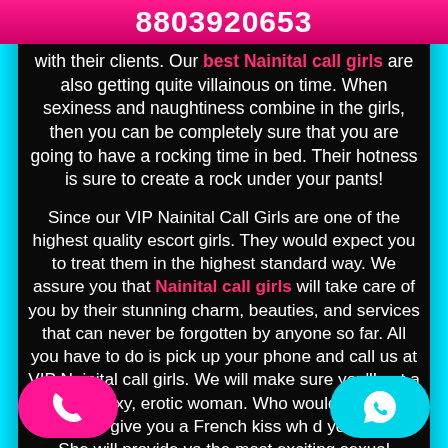8803920653
with their clients. Our best Nainital call girls are also getting quite villainous on time. When sexiness and naughtiness combine in the girls, then you can be completely sure that you are going to have a rocking time in bed. Their hotness is sure to create a rock under your pants!
Since our VIP Nainital Call Girls are one of the highest quality escort girls. They would expect you to treat them in the highest standard way. We assure you that Nainital call girls will take care of you by their stunning charm, beauties, and services that can never be forgotten by anyone so far. All you have to do is pick up your phone and call us at VIP Nainital call girls. We will make sure you'll get a hot and sexy, erotic woman. Who would take care of he will give you a French kiss wh d your room. She will provide yo the most exciting sexual encounter.